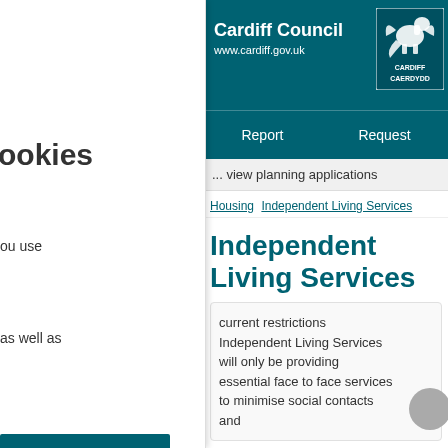Cardiff Council
www.cardiff.gov.uk
Report   Request
... view planning applications
ookies
ou use
as well as
Housing   Independent Living Services
Independent Living Services
current restrictions Independent Living Services will only be providing essential face to face services to minimise social contacts and